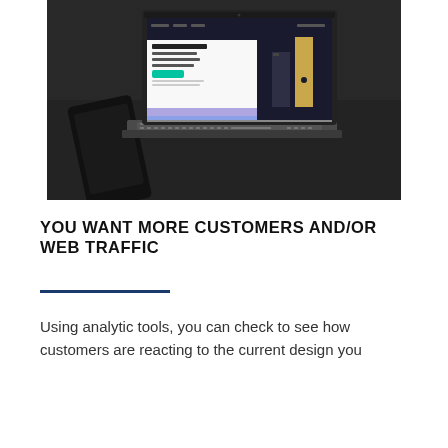[Figure (photo): Black and white photo of a laptop computer on a dark surface. The laptop screen displays a website with a dark background and a bar chart (dark and gold colored bars) on the right side. A smartphone lies partially under the laptop keyboard area.]
YOU WANT MORE CUSTOMERS AND/OR WEB TRAFFIC
Using analytic tools, you can check to see how customers are reacting to the current design you